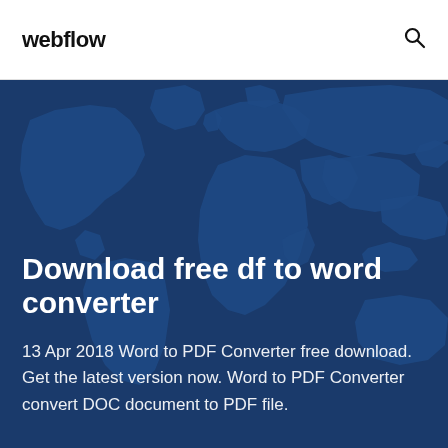webflow
[Figure (illustration): World map silhouette on dark blue background]
Download free df to word converter
13 Apr 2018 Word to PDF Converter free download. Get the latest version now. Word to PDF Converter convert DOC document to PDF file.